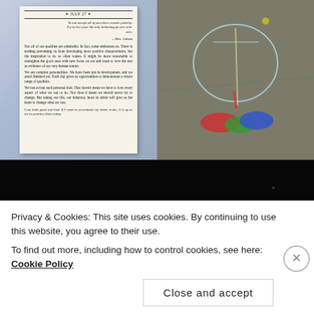[Figure (photo): Photo of an open book being held, showing a page from July 27 with text about accepting personal traits, including a quote by Mrs. Ashton]
[Figure (photo): Photo of chalk artwork on a sidewalk/pavement with colorful chalk drawings including blue, red, green and yellow chalk marks]
[Figure (photo): Dark/black photo, mostly dark background]
Privacy & Cookies: This site uses cookies. By continuing to use this website, you agree to their use.
To find out more, including how to control cookies, see here: Cookie Policy
Close and accept